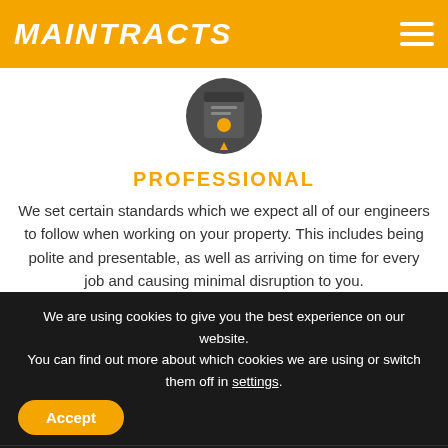MAINTRACTS
[Figure (illustration): Certificate/award icon with orange ribbon on dark circular background]
PROFESSIONAL
We set certain standards which we expect all of our engineers to follow when working on your property. This includes being polite and presentable, as well as arriving on time for every job and causing minimal disruption to you.
We are using cookies to give you the best experience on our website.
You can find out more about which cookies we are using or switch them off in settings.
Accept
Contact Us   020 8131 1866